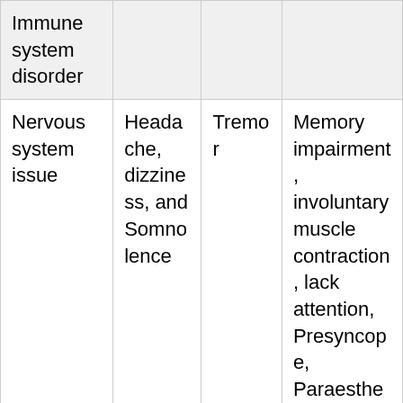| Immune system disorder |  |  |  |
| Nervous system issue | Headache, dizziness, and Somnolence | Tremor | Memory impairment, involuntary muscle contraction, lack attention, Presyncope, Paraesthesia, sedation |
| Psychiatric disorders |  | Abnormal dreams, | Agitation, nervousness |